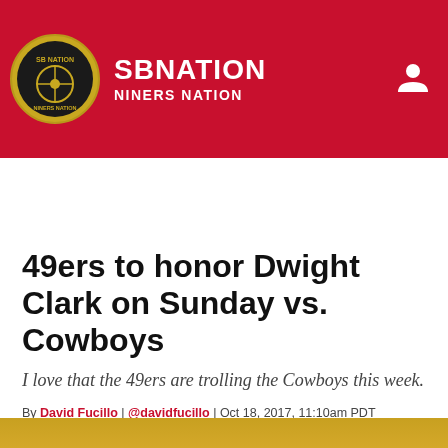SB NATION / NINERS NATION
FANPOSTS | FAN SHOP | MORE
49ers to honor Dwight Clark on Sunday vs. Cowboys
I love that the 49ers are trolling the Cowboys this week.
By David Fucillo | @davidfucillo | Oct 18, 2017, 11:10am PDT
SHARE